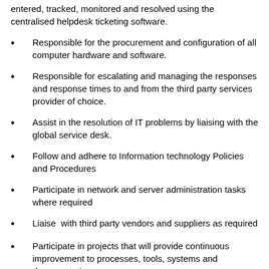entered, tracked, monitored and resolved using the centralised helpdesk ticketing software.
Responsible for the procurement and configuration of all computer hardware and software.
Responsible for escalating and managing the responses and response times to and from the third party services provider of choice.
Assist in the resolution of IT problems by liaising with the global service desk.
Follow and adhere to Information technology Policies and Procedures
Participate in network and server administration tasks where required
Liaise  with third party vendors and suppliers as required
Participate in projects that will provide continuous improvement to processes, tools, systems and documentation.